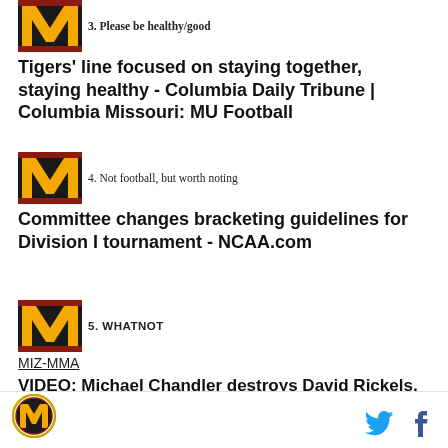3. Please be healthy/good
Tigers' line focused on staying together, staying healthy - Columbia Daily Tribune | Columbia Missouri: MU Football
4. Not football, but worth noting
Committee changes bracketing guidelines for Division I tournament - NCAA.com
5. WHATNOT
MIZ-MMA
VIDEO: Michael Chandler destroys David Rickels, plus complete highlights from Bellator 97 - MMA Fighting